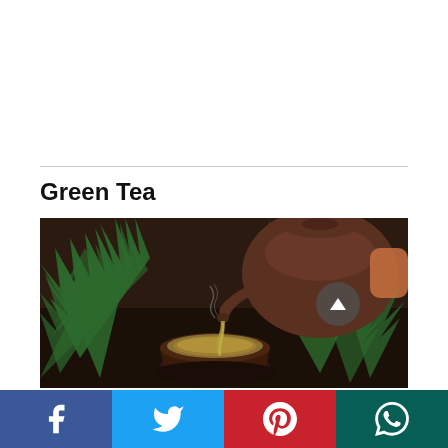Green Tea
[Figure (photo): A clay teapot pouring hot green tea into a small ceramic cup, with green foliage in the background on a dark tray]
[Figure (infographic): Social media share bar with Facebook, Twitter, Pinterest, and WhatsApp buttons]